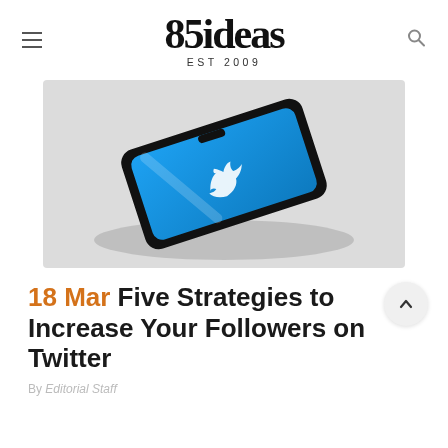85ideas EST 2009
[Figure (photo): A smartphone with Twitter (now X) app open, showing the Twitter bird logo on a blue screen, lying flat on a light gray surface at an angle.]
18 Mar Five Strategies to Increase Your Followers on Twitter
By Editorial Staff